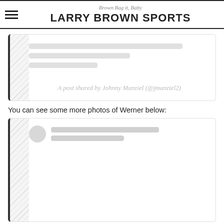Brown Bag it, Baby — LARRY BROWN SPORTS
[Figure (screenshot): Embedded Instagram post placeholder showing skeleton loading lines and 'A post shared by Johnny Manziel (@jmanziel2)' caption]
You can see some more photos of Werner below:
[Figure (screenshot): Second embedded Instagram post placeholder showing avatar circle and skeleton loading lines]